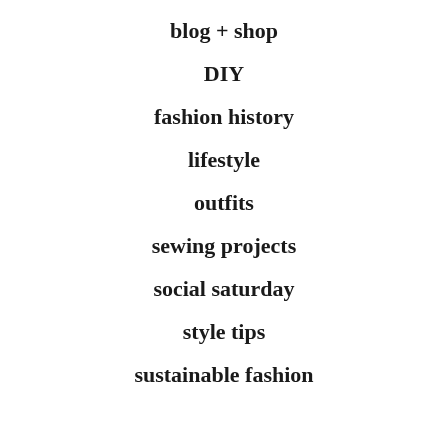blog + shop
DIY
fashion history
lifestyle
outfits
sewing projects
social saturday
style tips
sustainable fashion